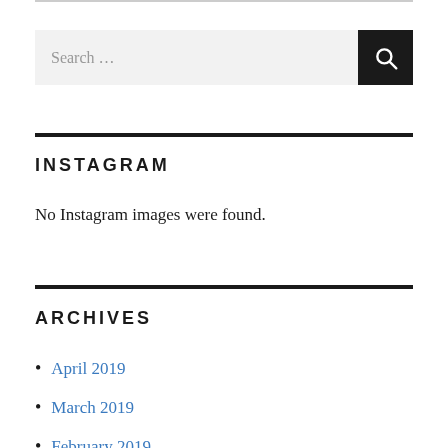Search …
INSTAGRAM
No Instagram images were found.
ARCHIVES
April 2019
March 2019
February 2019